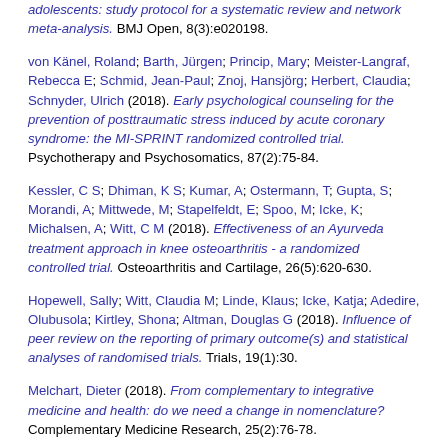adolescents: study protocol for a systematic review and network meta-analysis. BMJ Open, 8(3):e020198.
von Känel, Roland; Barth, Jürgen; Princip, Mary; Meister-Langraf, Rebecca E; Schmid, Jean-Paul; Znoj, Hansjörg; Herbert, Claudia; Schnyder, Ulrich (2018). Early psychological counseling for the prevention of posttraumatic stress induced by acute coronary syndrome: the MI-SPRINT randomized controlled trial. Psychotherapy and Psychosomatics, 87(2):75-84.
Kessler, C S; Dhiman, K S; Kumar, A; Ostermann, T; Gupta, S; Morandi, A; Mittwede, M; Stapelfeldt, E; Spoo, M; Icke, K; Michalsen, A; Witt, C M (2018). Effectiveness of an Ayurveda treatment approach in knee osteoarthritis - a randomized controlled trial. Osteoarthritis and Cartilage, 26(5):620-630.
Hopewell, Sally; Witt, Claudia M; Linde, Klaus; Icke, Katja; Adedire, Olubusola; Kirtley, Shona; Altman, Douglas G (2018). Influence of peer review on the reporting of primary outcome(s) and statistical analyses of randomised trials. Trials, 19(1):30.
Melchart, Dieter (2018). From complementary to integrative medicine and health: do we need a change in nomenclature? Complementary Medicine Research, 25(2):76-78.
Tronnier, Rolf; Melchart, Dieter; Horn, Tom; Bayer, (2018)...